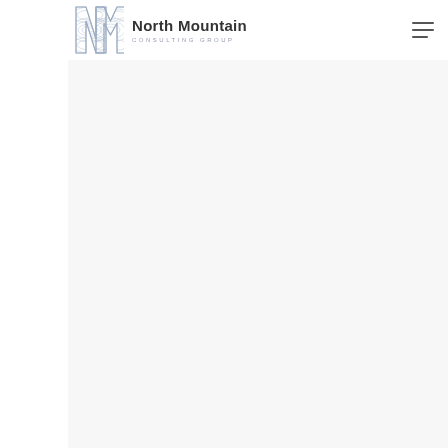[Figure (logo): North Mountain Consulting Group logo with stylized NM letters featuring topographic line patterns in light blue/grey, followed by the text 'North Mountain' in dark grey and 'CONSULTING GROUP' in small caps below.]